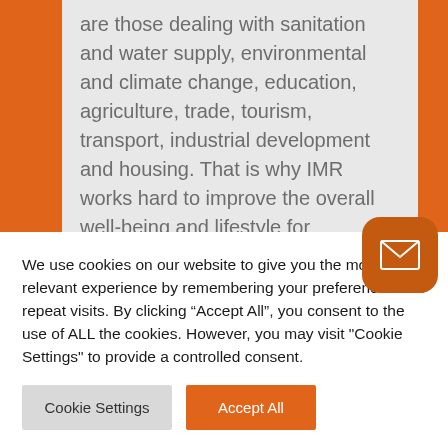are those dealing with sanitation and water supply, environmental and climate change, education, agriculture, trade, tourism, transport, industrial development and housing. That is why IMR works hard to improve the overall well-being and lifestyle for communities. Each of our clinics has a basic laboratory that provides a variety of testing, including UA, Hgb, malaria, HIV, and more.

IMR provides critical education on how to prevent getting malaria in the future by using bed nets.
We use cookies on our website to give you the most relevant experience by remembering your preferences and repeat visits. By clicking "Accept All", you consent to the use of ALL the cookies. However, you may visit "Cookie Settings" to provide a controlled consent.
Cookie Settings
Accept All